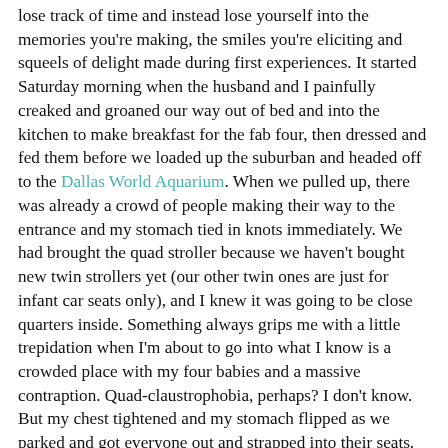lose track of time and instead lose yourself into the memories you're making, the smiles you're eliciting and squeels of delight made during first experiences. It started Saturday morning when the husband and I painfully creaked and groaned our way out of bed and into the kitchen to make breakfast for the fab four, then dressed and fed them before we loaded up the suburban and headed off to the Dallas World Aquarium. When we pulled up, there was already a crowd of people making their way to the entrance and my stomach tied in knots immediately. We had brought the quad stroller because we haven't bought new twin strollers yet (our other twin ones are just for infant car seats only), and I knew it was going to be close quarters inside. Something always grips me with a little trepidation when I'm about to go into what I know is a crowded place with my four babies and a massive contraption. Quad-claustrophobia, perhaps? I don't know. But my chest tightened and my stomach flipped as we parked and got everyone out and strapped into their seats. My husband asked if I wanted to abandon our plans but I said, no, we need to have these experiences and the babies need to get out and see things!